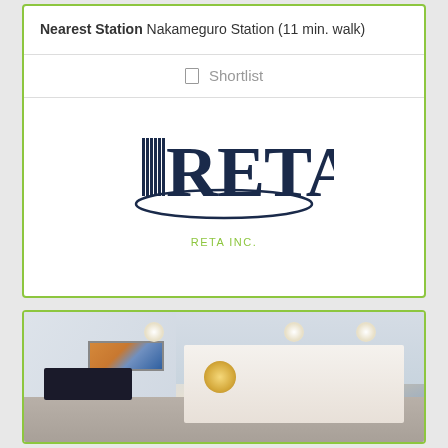Nearest Station Nakameguro Station (11 min. walk)
☐ Shortlist
[Figure (logo): RETA Inc. logo — stylized building icon with the word RETA in large serif letters, enclosed by an oval ellipse]
RETA INC.
[Figure (photo): Interior photo of a modern apartment living/dining room with white ceiling featuring recessed lights and a pendant lamp, a colorful artwork on the wall, a large TV, and a kitchen visible in the background]